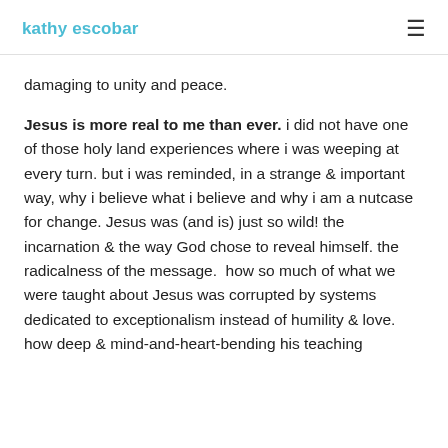kathy escobar
damaging to unity and peace.
Jesus is more real to me than ever. i did not have one of those holy land experiences where i was weeping at every turn. but i was reminded, in a strange & important way, why i believe what i believe and why i am a nutcase for change. Jesus was (and is) just so wild! the incarnation & the way God chose to reveal himself. the radicalness of the message.  how so much of what we were taught about Jesus was corrupted by systems dedicated to exceptionalism instead of humility & love. how deep & mind-and-heart-bending his teaching